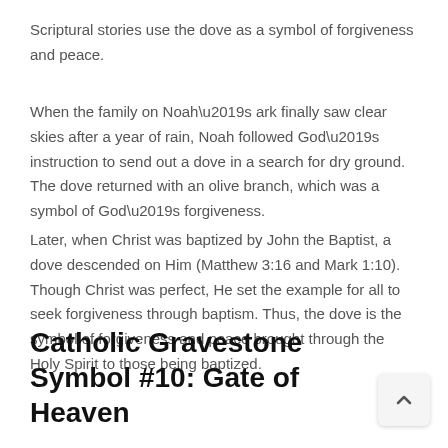Scriptural stories use the dove as a symbol of forgiveness and peace.
When the family on Noah’s ark finally saw clear skies after a year of rain, Noah followed God’s instruction to send out a dove in a search for dry ground. The dove returned with an olive branch, which was a symbol of God’s forgiveness.
Later, when Christ was baptized by John the Baptist, a dove descended on Him (Matthew 3:16 and Mark 1:10). Though Christ was perfect, He set the example for all to seek forgiveness through baptism. Thus, the dove is the symbol of forgiveness and peace brought through the Holy Spirit to those being baptized.
Catholic Gravestone Symbol #10: Gate of Heaven